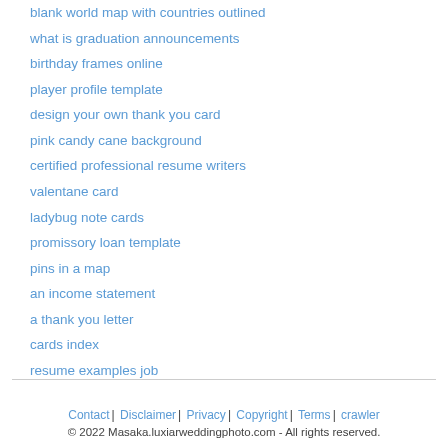blank world map with countries outlined
what is graduation announcements
birthday frames online
player profile template
design your own thank you card
pink candy cane background
certified professional resume writers
valentane card
ladybug note cards
promissory loan template
pins in a map
an income statement
a thank you letter
cards index
resume examples job
Contact | Disclaimer | Privacy | Copyright | Terms | crawler
© 2022 Masaka.luxiarweddingphoto.com - All rights reserved.